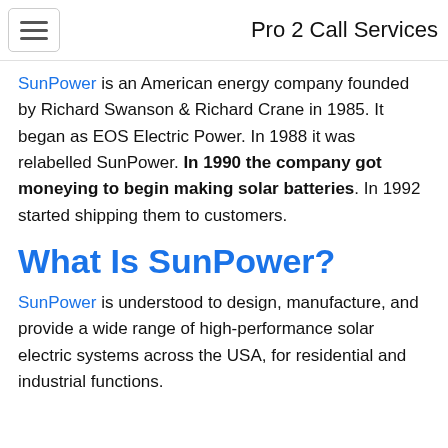Pro 2 Call Services
SunPower is an American energy company founded by Richard Swanson & Richard Crane in 1985. It began as EOS Electric Power. In 1988 it was relabelled SunPower. In 1990 the company got moneying to begin making solar batteries. In 1992 started shipping them to customers.
What Is SunPower?
SunPower is understood to design, manufacture, and provide a wide range of high-performance solar electric systems across the USA, for residential and industrial functions.